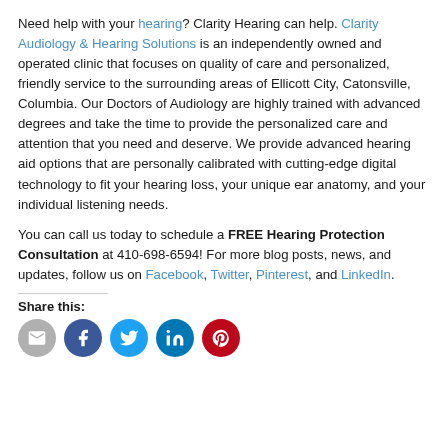Need help with your hearing? Clarity Hearing can help. Clarity Audiology & Hearing Solutions is an independently owned and operated clinic that focuses on quality of care and personalized, friendly service to the surrounding areas of Ellicott City, Catonsville, Columbia. Our Doctors of Audiology are highly trained with advanced degrees and take the time to provide the personalized care and attention that you need and deserve. We provide advanced hearing aid options that are personally calibrated with cutting-edge digital technology to fit your hearing loss, your unique ear anatomy, and your individual listening needs.
You can call us today to schedule a FREE Hearing Protection Consultation at 410-698-6594! For more blog posts, news, and updates, follow us on Facebook, Twitter, Pinterest, and LinkedIn.
Share this:
[Figure (infographic): Row of social media share icon circles: email (grey), Facebook (blue), Twitter (light blue), LinkedIn (blue), Pinterest (red)]